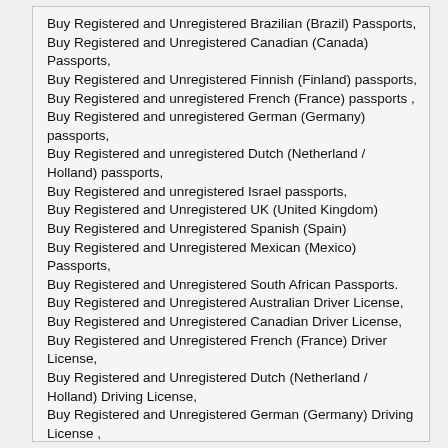Buy Registered and Unregistered Brazilian (Brazil) Passports, Buy Registered and Unregistered Canadian (Canada) Passports, Buy Registered and Unregistered Finnish (Finland) passports, Buy Registered and unregistered French (France) passports , Buy Registered and unregistered German (Germany) passports, Buy Registered and unregistered Dutch (Netherland / Holland) passports, Buy Registered and unregistered Israel passports, Buy Registered and Unregistered UK (United Kingdom) Buy Registered and Unregistered Spanish (Spain) Buy Registered and Unregistered Mexican (Mexico) Passports, Buy Registered and Unregistered South African Passports. Buy Registered and Unregistered Australian Driver License, Buy Registered and Unregistered Canadian Driver License, Buy Registered and Unregistered French (France) Driver License, Buy Registered and Unregistered Dutch (Netherland / Holland) Driving License, Buy Registered and Unregistered German (Germany) Driving License , Buy Registered and Unregistered UK (United Kingdom) Driving License, Buy Registered and Unregistered Diplomatic Passports, Buy Registered and Unregistered United States (United States) Buy Registered and Unregistered Brazilian Passports, Buy